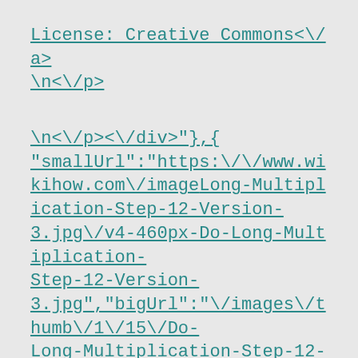License: Creative Commons<\/a>
<\/p>
\n<\/p><\/div>"},{"smallUrl":"https:\/\/www.wikihow.com\/image Long-Multiplication-Step-12-Version-3.jpg\/v4-460px-Do-Long-Multiplication-Step-12-Version-3.jpg","bigUrl":"\/images\/thumb\/1\/15\/Do-Long-Multiplication-Step-12-Version-3.jpg\/aid41906-v4-728px-Do-Long-Multiplication-Step-12-Version-3.jpg","smallWidth":460,"smallHeight":345,"bigWid